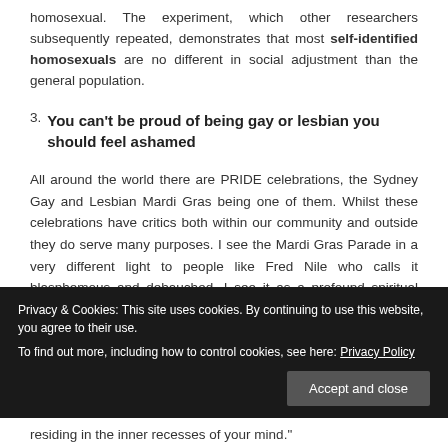homosexual. The experiment, which other researchers subsequently repeated, demonstrates that most self-identified homosexuals are no different in social adjustment than the general population.
3. You can't be proud of being gay or lesbian you should feel ashamed
All around the world there are PRIDE celebrations, the Sydney Gay and Lesbian Mardi Gras being one of them. Whilst these celebrations have critics both within our community and outside they do serve many purposes. I see the Mardi Gras Parade in a very different light to people like Fred Nile who calls it blasphemous and debauched. I see it as a profound spiritual experience. Each year I tell those who are marching
residing in the inner recesses of your mind."
Privacy & Cookies: This site uses cookies. By continuing to use this website, you agree to their use.
To find out more, including how to control cookies, see here: Privacy Policy